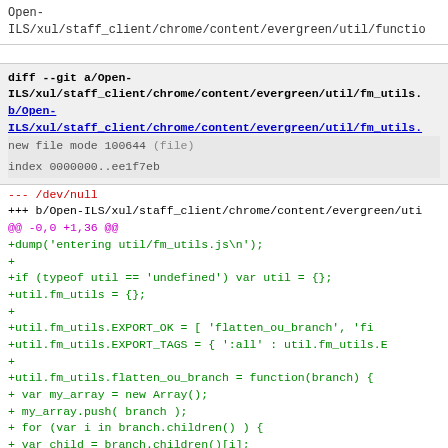Open-ILS/xul/staff_client/chrome/content/evergreen/util/functio
[Figure (screenshot): Git diff block showing new file diff --git a/Open-ILS/xul/staff_client/chrome/content/evergreen/util/fm_utils. with a link to b/Open-ILS/xul/staff_client/chrome/content/evergreen/util/fm_utils., new file mode 100644, index 0000000..ee1f7eb]
--- /dev/null
+++ b/Open-ILS/xul/staff_client/chrome/content/evergreen/uti
@@ -0,0 +1,36 @@
+dump('entering util/fm_utils.js\n');
+
+if (typeof util == 'undefined') var util = {};
+util.fm_utils = {};
+
+util.fm_utils.EXPORT_OK        = [ 'flatten_ou_branch', 'fi
+util.fm_utils.EXPORT_TAGS      = { ':all' : util.fm_utils.E
+
+util.fm_utils.flatten_ou_branch = function(branch) {
+        var my_array = new Array();
+        my_array.push( branch );
+        for (var i in branch.children() ) {
+                var child = branch.children()[i];
+                if (child != null) {
+                        var temp_array = util.fm_utils.flatt